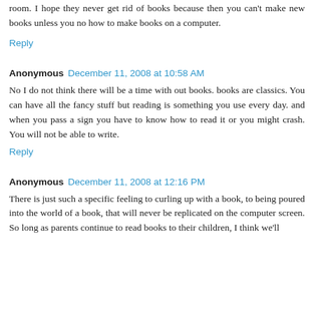room. I hope they never get rid of books because then you can't make new books unless you no how to make books on a computer.
Reply
Anonymous December 11, 2008 at 10:58 AM
No I do not think there will be a time with out books. books are classics. You can have all the fancy stuff but reading is something you use every day. and when you pass a sign you have to know how to read it or you might crash. You will not be able to write.
Reply
Anonymous December 11, 2008 at 12:16 PM
There is just such a specific feeling to curling up with a book, to being poured into the world of a book, that will never be replicated on the computer screen. So long as parents continue to read books to their children, I think we'll